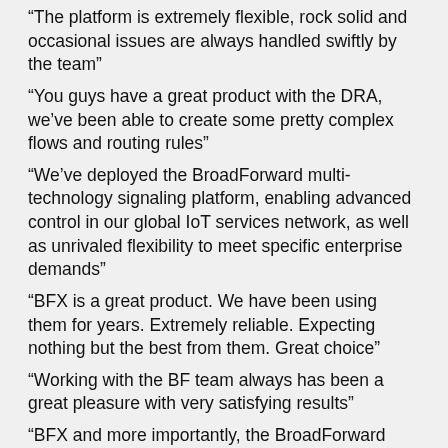“The platform is extremely flexible, rock solid and occasional issues are always handled swiftly by the team”
“You guys have a great product with the DRA, we’ve been able to create some pretty complex flows and routing rules”
“We’ve deployed the BroadForward multi-technology signaling platform, enabling advanced control in our global IoT services network, as well as unrivaled flexibility to meet specific enterprise demands”
“BFX is a great product. We have been using them for years. Extremely reliable. Expecting nothing but the best from them. Great choice”
“Working with the BF team always has been a great pleasure with very satisfying results”
“BFX and more importantly, the BroadForward team is a key aspect of our success”
“We are really enjoying the platform”